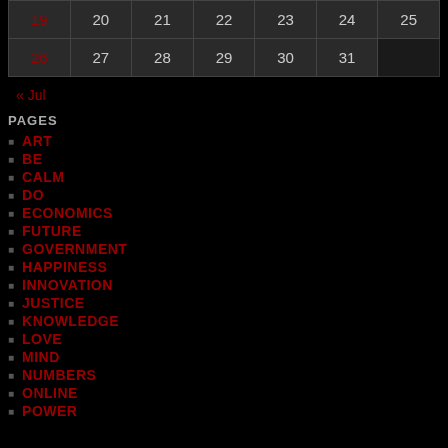| 19 | 20 | 21 | 22 | 23 | 24 | 25 |
| 26 | 27 | 28 | 29 | 30 | 31 |  |
« Jul
PAGES
ART
BE
CALM
DO
ECONOMICS
FUTURE
GOVERNMENT
HAPPINESS
INNOVATION
JUSTICE
KNOWLEDGE
LOVE
MIND
NUMBERS
ONLINE
POWER